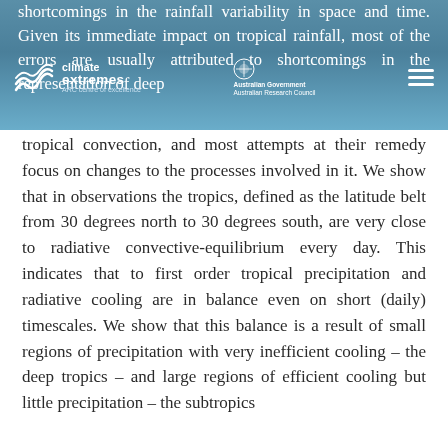shortcomings in the rainfall variability in space and time. Given its immediate impact on tropical rainfall, most of the errors are usually attributed to shortcomings in the representation of deep
tropical convection, and most attempts at their remedy focus on changes to the processes involved in it. We show that in observations the tropics, defined as the latitude belt from 30 degrees north to 30 degrees south, are very close to radiative convective-equilibrium every day. This indicates that to first order tropical precipitation and radiative cooling are in balance even on short (daily) timescales. We show that this balance is a result of small regions of precipitation with very inefficient cooling – the deep tropics – and large regions of efficient cooling but little precipitation – the subtropics